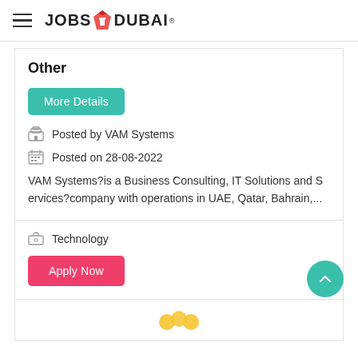JOBS IN DUBAI
Other
More Details
Posted by VAM Systems
Posted on 28-08-2022
VAM Systems?is a Business Consulting, IT Solutions and Services?company with operations in UAE, Qatar, Bahrain,...
Technology
Apply Now